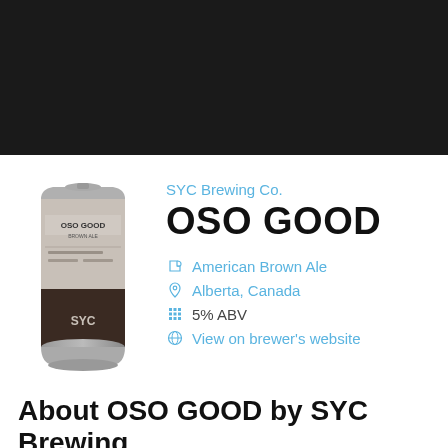[Figure (photo): Dark/black header banner area at top of page]
[Figure (photo): SYC Brewing Co. OSO GOOD beer can - tall silver and brown can with SYC branding and illustrated label]
SYC Brewing Co.
OSO GOOD
American Brown Ale
Alberta, Canada
5% ABV
View on brewer's website
About OSO GOOD by SYC Brewing Co.